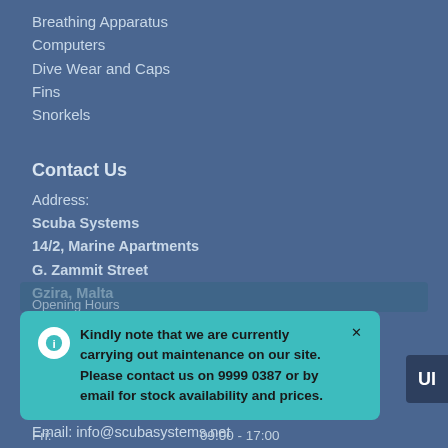Breathing Apparatus
Computers
Dive Wear and Caps
Fins
Snorkels
Contact Us
Address:
Scuba Systems
14/2, Marine Apartments
G. Zammit Street
Gzira, Malta
GZR 1662
Tel:
(+356) 2131 9448
(+356) 9999 0387
Email: info@scubasystems.net
Kindly note that we are currently carrying out maintenance on our site. Please contact us on 9999 0387 or by email for stock availability and prices.
Fri:                09:00 - 17:00